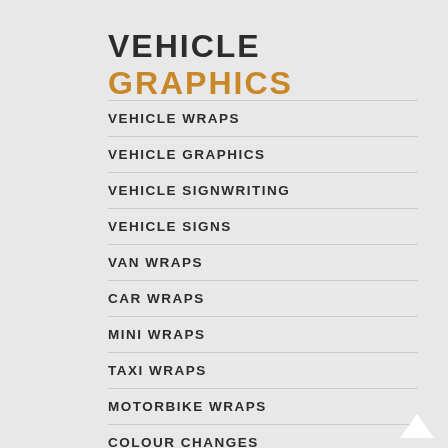VEHICLE GRAPHICS
VEHICLE WRAPS
VEHICLE GRAPHICS
VEHICLE SIGNWRITING
VEHICLE SIGNS
VAN WRAPS
CAR WRAPS
MINI WRAPS
TAXI WRAPS
MOTORBIKE WRAPS
COLOUR CHANGES